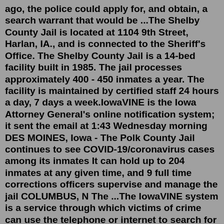ago, the police could apply for, and obtain, a search warrant that would be ...The Shelby County Jail is located at 1104 9th Street, Harlan, IA., and is connected to the Sheriff's Office. The Shelby County Jail is a 14-bed facility built in 1985. The jail processes approximately 400 - 450 inmates a year. The facility is maintained by certified staff 24 hours a day, 7 days a week.IowaVINE is the Iowa Attorney General's online notification system; it sent the email at 1:43 Wednesday morning DES MOINES, Iowa - The Polk County Jail continues to see COVID-19/coronavirus cases among its inmates It can hold up to 204 inmates at any given time, and 9 full time corrections officers supervise and manage the jail COLUMBUS, N The ...The IowaVINE system is a service through which victims of crime can use the telephone or internet to search for information regarding the custody status of their offender and to register to receive telephone and email notification when the offender's custody status changes. The toll-free number for IowaVINE is 888-7-IAVINE or 888-